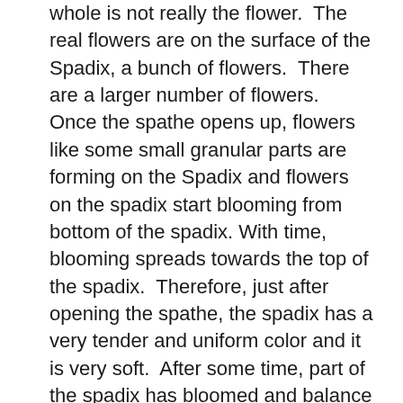whole is not really the flower.  The real flowers are on the surface of the Spadix, a bunch of flowers.  There are a larger number of flowers.  Once the spathe opens up, flowers like some small granular parts are forming on the Spadix and flowers on the spadix start blooming from bottom of the spadix. With time, blooming spreads towards the top of the spadix.  Therefore, just after opening the spathe, the spadix has a very tender and uniform color and it is very soft.  After some time, part of the spadix has bloomed and balance part is yet to be bloomed.  This can be felt when one touches or watches the spadix.  Then, the Spadix is in two color and there are two textures on the Spadix.  This change is used to decide the correct time of cutting an Anthurium flower so that the Anthurium cut flower can be kept for a maximum period without changing its quality.  The change of Spadix with the time can be easily understand with the following photographs.  After pollination of flowers, seeds are formed on the Spadix.